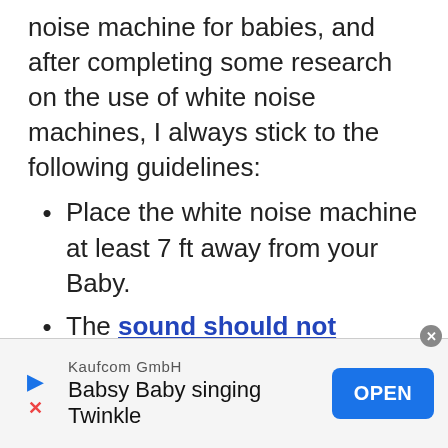noise machine for babies, and after completing some research on the use of white noise machines, I always stick to the following guidelines:
Place the white noise machine at least 7 ft away from your Baby.
The sound should not exceed 50dB.
Always use a timer! As tempting as it is, do not leave the white
Kaufcom GmbH
Babsy Baby singing Twinkle